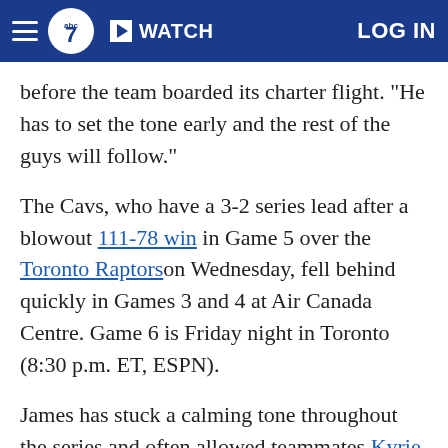ABC7 | WATCH | LOG IN
before the team boarded its charter flight. "He has to set the tone early and the rest of the guys will follow."
The Cavs, who have a 3-2 series lead after a blowout 111-78 win in Game 5 over the Toronto Raptors on Wednesday, fell behind quickly in Games 3 and 4 at Air Canada Centre. Game 6 is Friday night in Toronto (8:30 p.m. ET, ESPN).
James has stuck a calming tone throughout the series and often allowed teammates Kyrie Irving and Kevin Love to establish themselves offensively early in games.
He only took 17 shots in the Cavs' Game 4 loss,